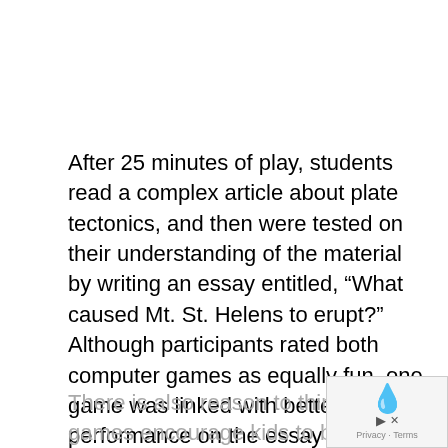After 25 minutes of play, students read a complex article about plate tectonics, and then were tested on their understanding of the material by writing an essay entitled, “What caused Mt. St. Helens to erupt?” Although participants rated both computer games as equally fun, one game was linked with better performance on the essay tests. Students assigned to play Halo showed a stronger grasp of the scientific concepts (Sanchez 2012).
There is also reason to think that some video games encourage kids to be helpful and frie...